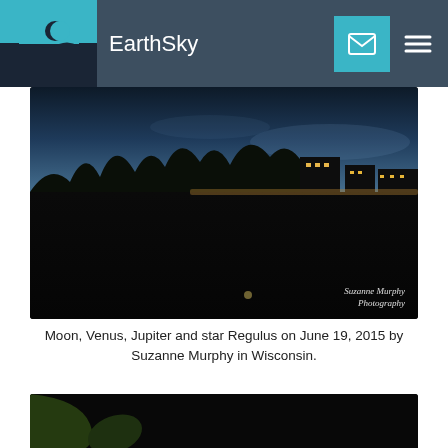EarthSky
[Figure (photo): Nighttime panoramic photo of a flat landscape with trees silhouetted against a twilight sky, lights of buildings visible. Credit: Suzanne Murphy Photography]
Moon, Venus, Jupiter and star Regulus on June 19, 2015 by Suzanne Murphy in Wisconsin.
[Figure (photo): Dark night sky photo showing labeled stars/planets: Regulus, Jupiter, Venus. Text overlay: Western Sky over a Casino, Las Vegas, Nevada, 9:00 PM  6-19-15]
[Figure (photo): Partial view of a third image with a New Moon label visible, with a close (X) button overlay]